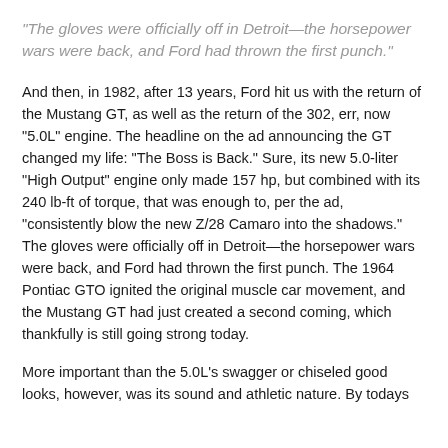“The gloves were officially off in Detroit—the horsepower wars were back, and Ford had thrown the first punch.”
And then, in 1982, after 13 years, Ford hit us with the return of the Mustang GT, as well as the return of the 302, err, now “5.0L” engine. The headline on the ad announcing the GT changed my life: “The Boss is Back.” Sure, its new 5.0-liter “High Output” engine only made 157 hp, but combined with its 240 lb-ft of torque, that was enough to, per the ad, “consistently blow the new Z/28 Camaro into the shadows.” The gloves were officially off in Detroit—the horsepower wars were back, and Ford had thrown the first punch. The 1964 Pontiac GTO ignited the original muscle car movement, and the Mustang GT had just created a second coming, which thankfully is still going strong today.
More important than the 5.0L’s swagger or chiseled good looks, however, was its sound and athletic nature. By todays